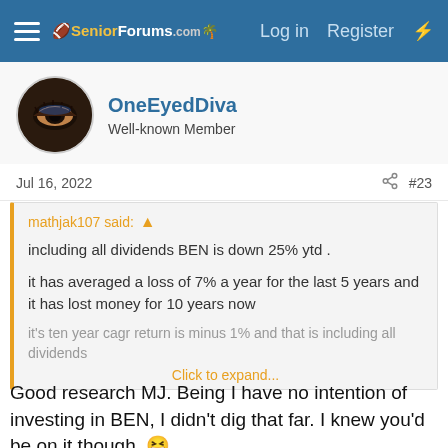SeniorForums.com — Log in  Register
OneEyedDiva
Well-known Member
Jul 16, 2022  #23
mathjak107 said: ↑ including all dividends BEN is down 25% ytd . it has averaged a loss of 7% a year for the last 5 years and it has lost money for 10 years now it's ten year cagr return is minus 1% and that is including all dividends Click to expand...
Good research MJ. Being I have no intention of investing in BEN, I didn't dig that far. I knew you'd be on it though. 😆